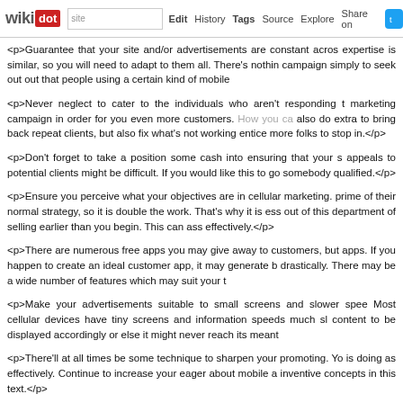wikidot | site Edit History Tags Source Explore Share on Twitter
<p>Guarantee that your site and/or advertisements are constant across expertise is similar, so you will need to adapt to them all. There's nothing campaign simply to seek out out that people using a certain kind of mobile
<p>Never neglect to cater to the individuals who aren't responding to marketing campaign in order for you even more customers. How you can also do extra to bring back repeat clients, but also fix what's not working entice more folks to stop in.</p>
<p>Don't forget to take a position some cash into ensuring that your si appeals to potential clients might be difficult. If you would like this to go somebody qualified.</p>
<p>Ensure you perceive what your objectives are in cellular marketing. prime of their normal strategy, so it is double the work. That's why it is ess out of this department of selling earlier than you begin. This can ass effectively.</p>
<p>There are numerous free apps you may give away to customers, but apps. If you happen to create an ideal customer app, it may generate b drastically. There may be a wide number of features which may suit your t
<p>Make your advertisements suitable to small screens and slower spee Most cellular devices have tiny screens and information speeds much sl content to be displayed accordingly or else it might never reach its meant
<p>There'll at all times be some technique to sharpen your promoting. Yo is doing as effectively. Continue to increase your eager about mobile a inventive concepts in this text.</p>